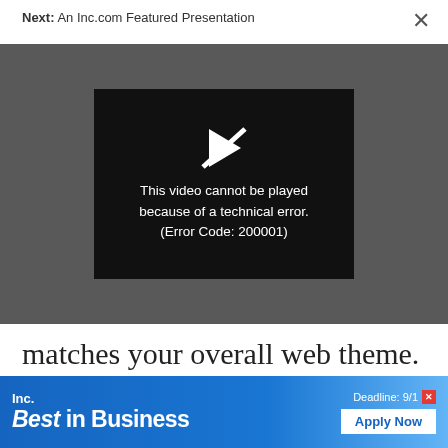Next: An Inc.com Featured Presentation
[Figure (screenshot): Video player showing error message: 'This video cannot be played because of a technical error. (Error Code: 200001)' on dark background with play icon with slash through it]
matches your overall web theme.

Whichever route visitors take to

your careers site, whether through
[Figure (infographic): Inc. Best in Business advertisement banner with blue gradient background, deadline 9/1 and Apply Now button]